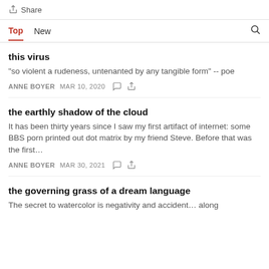Share
Top   New
this virus
"so violent a rudeness, untenanted by any tangible form" -- poe
ANNE BOYER   MAR 10, 2020
the earthly shadow of the cloud
It has been thirty years since I saw my first artifact of internet: some BBS porn printed out dot matrix by my friend Steve. Before that was the first…
ANNE BOYER   MAR 30, 2021
the governing grass of a dream language
The secret to watercolor is negativity and accident… along